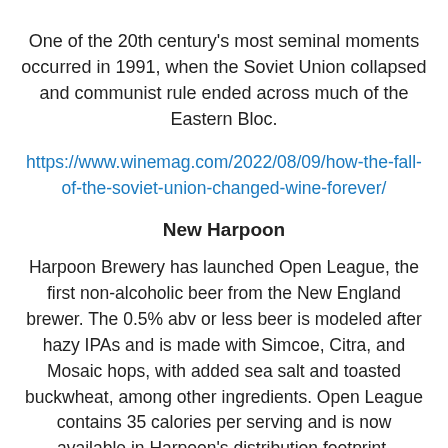One of the 20th century's most seminal moments occurred in 1991, when the Soviet Union collapsed and communist rule ended across much of the Eastern Bloc.
https://www.winemag.com/2022/08/09/how-the-fall-of-the-soviet-union-changed-wine-forever/
New Harpoon
Harpoon Brewery has launched Open League, the first non-alcoholic beer from the New England brewer. The 0.5% abv or less beer is modeled after hazy IPAs and is made with Simcoe, Citra, and Mosaic hops, with added sea salt and toasted buckwheat, among other ingredients. Open League contains 35 calories per serving and is now available in Harpoon's distribution footprint.